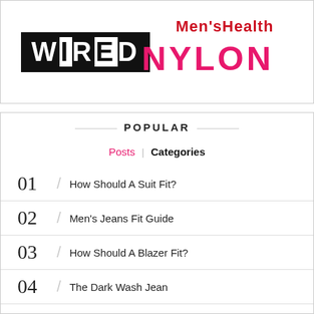[Figure (logo): WIRED magazine logo (black and white block letters), Men's Health logo (red serif text), NYLON logo (pink bold text)]
POPULAR
Posts | Categories
01 / How Should A Suit Fit?
02 / Men's Jeans Fit Guide
03 / How Should A Blazer Fit?
04 / The Dark Wash Jean